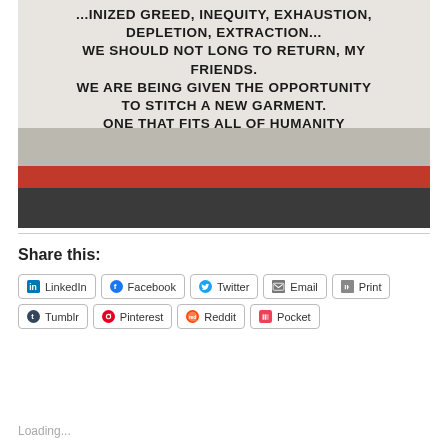[Figure (photo): Photo of a mural painted on a white brick wall. The mural text reads: '...INIZED GREED, INEQUITY, EXHAUSTION, DEPLETION, EXTRACTION... WE SHOULD NOT LONG TO RETURN, MY FRIENDS. WE ARE BEING GIVEN THE OPPORTUNITY TO STITCH A NEW GARMENT. ONE THAT FITS ALL OF HUMANITY AND NATURE.' Attribution: - SONYA RENEE TAYLOR. Street and sidewalk visible at the bottom of the photo, with graffiti on the curb.]
Share this:
LinkedIn
Facebook
Twitter
Email
Print
Tumblr
Pinterest
Reddit
Pocket
Loading...